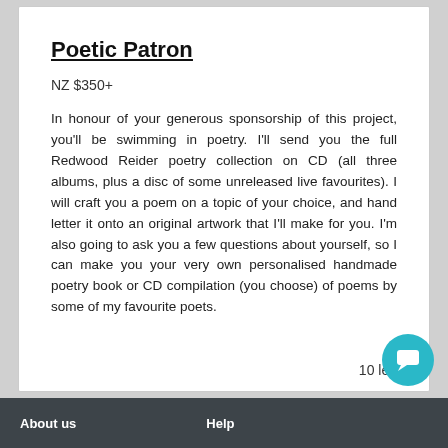Poetic Patron
NZ $350+
In honour of your generous sponsorship of this project, you'll be swimming in poetry. I'll send you the full Redwood Reider poetry collection on CD (all three albums, plus a disc of some unreleased live favourites). I will craft you a poem on a topic of your choice, and hand letter it onto an original artwork that I'll make for you. I'm also going to ask you a few questions about yourself, so I can make you your very own personalised handmade poetry book or CD compilation (you choose) of poems by some of my favourite poets.
10 left
About us    Help